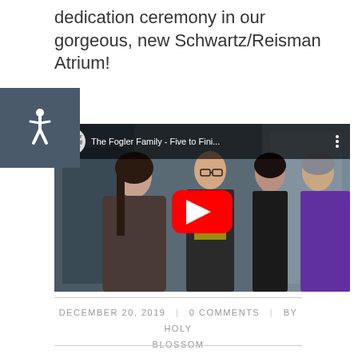dedication ceremony in our gorgeous, new Schwartz/Reisman Atrium!
[Figure (screenshot): YouTube video embed thumbnail showing four people at an event. Title bar reads 'The Fogler Family - Five to Fini...' with YouTube logo. Large red play button in center.]
DECEMBER 20, 2019 | 0 COMMENTS | BY HOLY BLOSSOM